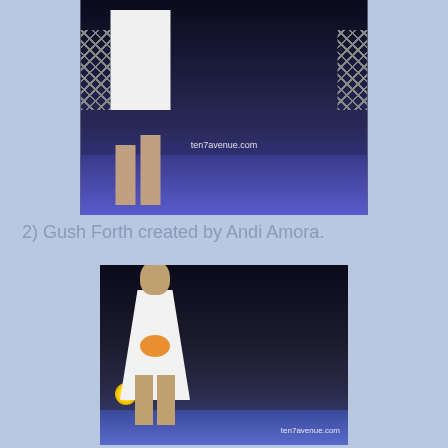[Figure (photo): Fashion runway photo showing a model in a white dress on a blue-lit stage with truss structures, watermarked 'ten7avenue.com']
2) Gush Forth created by Andi Amora.
[Figure (photo): Fashion runway photo showing a model in a white halter dress holding an orange clutch, on a blue-lit stage, watermarked 'ten7avenue.com']